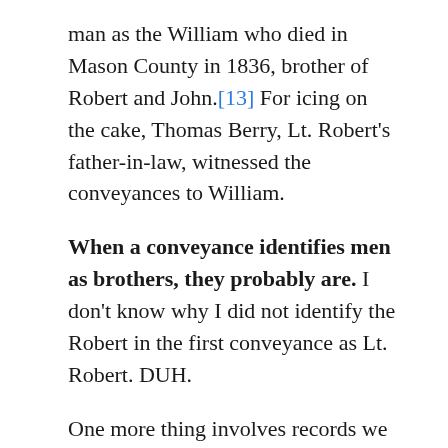man as the William who died in Mason County in 1836, brother of Robert and John.[13] For icing on the cake, Thomas Berry, Lt. Robert's father-in-law, witnessed the conveyances to William.
When a conveyance identifies men as brothers, they probably are. I don't know why I did not identify the Robert in the first conveyance as Lt. Robert. DUH.
One more thing involves records we met in my last post on this blog. Namely, a pair of Berry deeds in Frederick County witnessed by Reuben Rankin and Robert Rankin. That post agonized over the Reuben Rankin who was a son of John